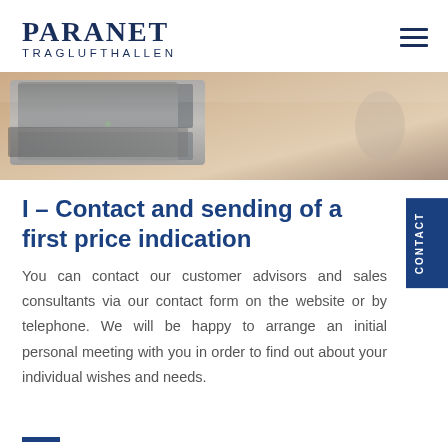PARANET TRAGLUFTHALLEN
[Figure (photo): Close-up photo of a laptop computer on a wooden desk, blurred background]
I – Contact and sending of a first price indication
You can contact our customer advisors and sales consultants via our contact form on the website or by telephone. We will be happy to arrange an initial personal meeting with you in order to find out about your individual wishes and needs.